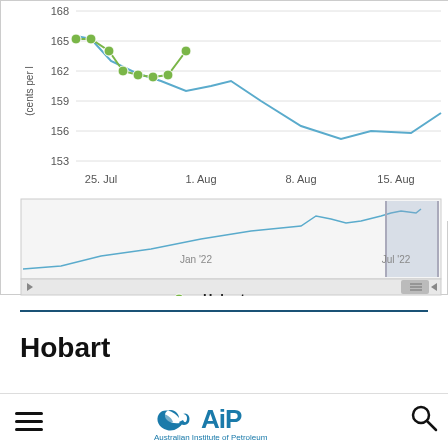[Figure (continuous-plot): Line chart showing petrol prices (cents per litre) in Hobart from approximately 25 Jul to 15 Aug (top panel), and a longer-term line chart from Jan '22 to Jul '22 showing a navigator/overview panel with scroll controls (bottom panel). The top chart shows values ranging approximately 153-168 cents per litre. Green dots mark Hobart data points on a declining trend from ~167 to ~162 then rising slightly to ~165 around 1 Aug, then a blue line continues declining to ~156 around 15 Aug then recovering to ~159. Y-axis labels: 168, 165, 162, 159, 156, 153. X-axis labels: 25. Jul, 1. Aug, 8. Aug, 15. Aug. Legend shows green dot line labeled Hobart.]
Hobart
TAGS
Australian Institute of Petroleum